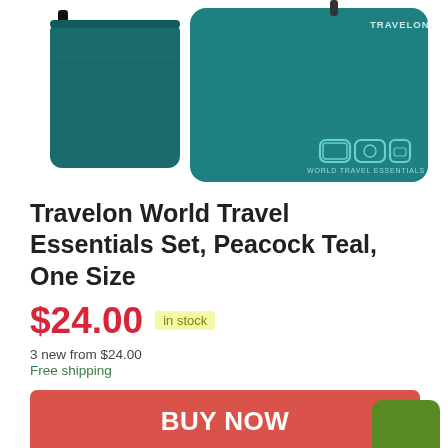[Figure (photo): Product photo of Travelon World Travel Essentials Set in Peacock Teal color — two teal-colored travel pouches/bags with TRAVELON branding and World Travel Essentials text on the larger bag.]
Travelon World Travel Essentials Set, Peacock Teal, One Size
$24.00 in stock
3 new from $24.00
Free shipping
BUY NOW
Amazon.com
as of August 20, 2022 2:32 pm